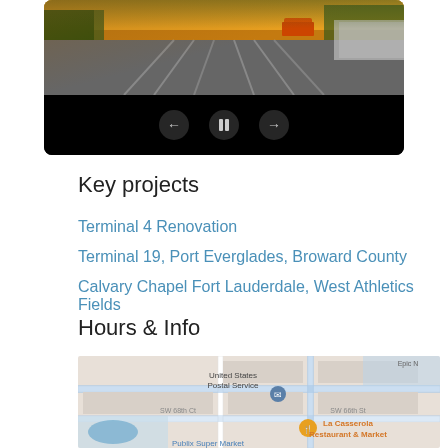[Figure (screenshot): Video player showing a road/driving scene with playback controls (back, pause, forward) on a black background]
Key projects
Terminal 4 Renovation
Terminal 19, Port Everglades, Broward County
Calvary Chapel Fort Lauderdale, West Athletics Fields
Hours & Info
[Figure (map): Google Maps screenshot showing area with United States Postal Service, SW 68th Ct, SW 66th St, La Casserola Restaurant & Market, and Publix Super Market]